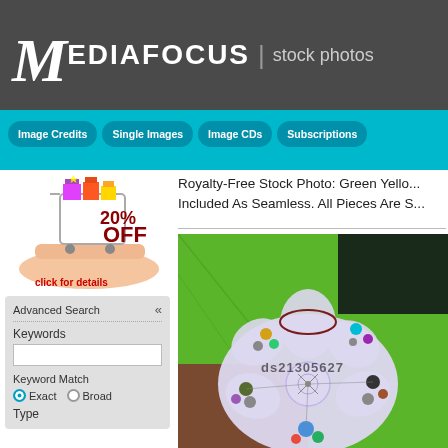MEDIAFOCUS | stock photos
Image Credits
Single Images
Image CDs
Subscriptions
[Figure (photo): Hand holding shopping cart with gifts, 20% OFF promotion, click for details]
Royalty-Free Stock Photo: Green Yello... Included As Seamless. All Pieces Are S...
[Figure (illustration): Green and brown background with lavender snowflake/atom decorative illustration, watermarked ds21305627]
Advanced Search
Keywords
Keyword Match
Exact
Broad
Type